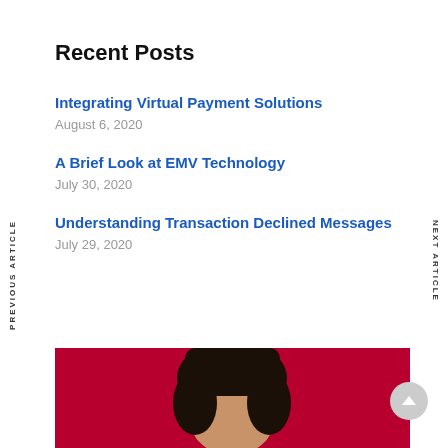Recent Posts
Integrating Virtual Payment Solutions
August 6, 2020
A Brief Look at EMV Technology
July 30, 2020
Understanding Transaction Declined Messages
July 29, 2020
PREVIOUS ARTICLE
NEXT ARTICLE
[Figure (photo): Person with dark hair on a red background, partially visible at bottom of page]